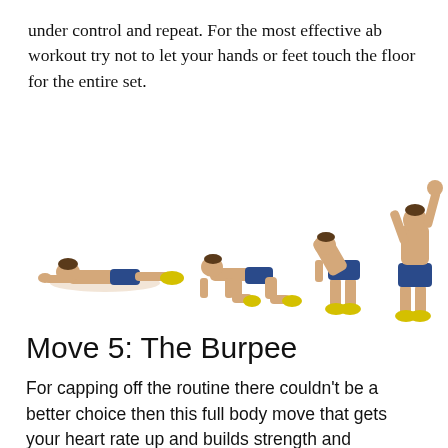under control and repeat. For the most effective ab workout try not to let your hands or feet touch the floor for the entire set.
[Figure (photo): Four sequential positions of a man performing a burpee exercise: lying flat in push-up position, kneeling on all fours, bent over with hands near feet, and standing upright with arms raised overhead. The man wears blue shorts and yellow sneakers.]
Move 5: The Burpee
For capping off the routine there couldn't be a better choice then this full body move that gets your heart rate up and builds strength and